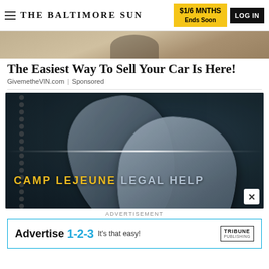THE BALTIMORE SUN | $1/6 MNTHS Ends Soon | LOG IN
[Figure (photo): Partial photo strip at top of page, showing a road or pavement surface with shadows]
The Easiest Way To Sell Your Car Is Here!
GivemetheVIN.com | Sponsored
[Figure (photo): Camp Lejeune Legal Help advertisement showing military dog tags on dark leather background with text 'CAMP LEJEUNE LEGAL HELP']
ADVERTISEMENT
[Figure (infographic): Tribune Publishing advertisement banner: Advertise 1-2-3 It's that easy! TRIBUNE PUBLISHING]